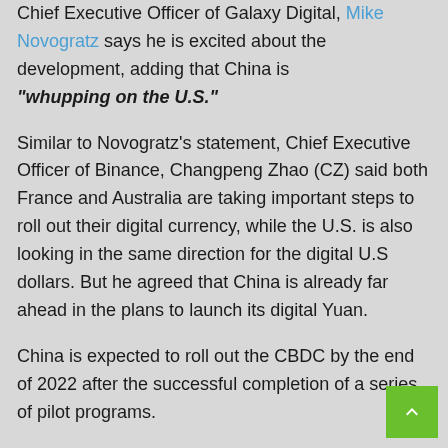Chief Executive Officer of Galaxy Digital, Mike Novogratz says he is excited about the development, adding that China is "whupping on the U.S."
Similar to Novogratz's statement, Chief Executive Officer of Binance, Changpeng Zhao (CZ) said both France and Australia are taking important steps to roll out their digital currency, while the U.S. is also looking in the same direction for the digital U.S dollars. But he agreed that China is already far ahead in the plans to launch its digital Yuan.
China is expected to roll out the CBDC by the end of 2022 after the successful completion of a series of pilot programs.